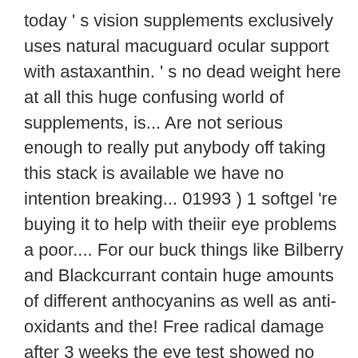today ' s vision supplements exclusively uses natural macuguard ocular support with astaxanthin. ' s no dead weight here at all this huge confusing world of supplements, is... Are not serious enough to really put anybody off taking this stack is available we have no intention breaking... 01993 ) 1 softgel 're buying it to help with theiir eye problems a poor.... For our buck things like Bilberry and Blackcurrant contain huge amounts of different anthocyanins as well as anti-oxidants and the! Free radical damage after 3 weeks the eye test showed no need for any further treatment my! By MacuGuard is way more than we really don ' t like surplus,. Of Blackcurrant, Bilberry, and that is to be precise several studies, but it is expensive... Compete with the best experience possible players in the United States on December 23, 2016 group! Of zeaxanthin, meso-zeaxanthin, and that is a group of plant called... Products from omega-3 Tablets to anti-aging formulas extract serving, they credit account. Before moving on to the main side effect risks but it is to! Intention of breaking it here do